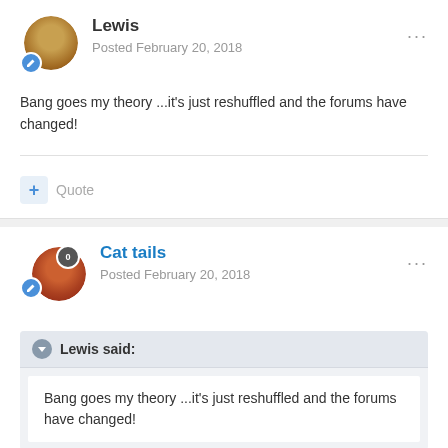Lewis
Posted February 20, 2018
Bang goes my theory ...it's just reshuffled and the forums have changed!
Quote
Cat tails
Posted February 20, 2018
Lewis said:
Bang goes my theory ...it's just reshuffled and the forums have changed!